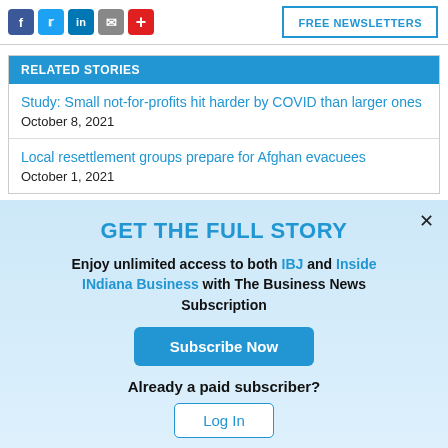[Figure (other): Social media share icons: Facebook (blue), Twitter (light blue), LinkedIn (blue), Email (gray), Plus/red button]
FREE NEWSLETTERS
RELATED STORIES
Study: Small not-for-profits hit harder by COVID than larger ones
October 8, 2021
Local resettlement groups prepare for Afghan evacuees
October 1, 2021
GET THE FULL STORY
Enjoy unlimited access to both IBJ and Inside INdiana Business with The Business News Subscription
Subscribe Now
Already a paid subscriber?
Log In